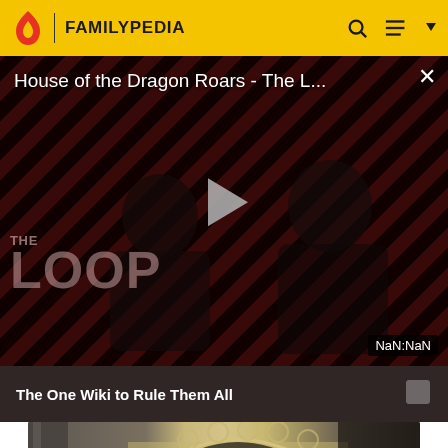FAMILYPEDIA
House of the Dragon Roars - The L...
[Figure (screenshot): Video player showing House of the Dragon Roars - The Loop, with diagonal red and dark stripe background, a play button in the center, THE LOOP text overlay, and NaN:NaN time display badge]
The One Wiki to Rule Them All
[Figure (screenshot): Partial view of an architectural scene showing ornate arched structures, columns, and a figure, from what appears to be a fantasy or period setting]